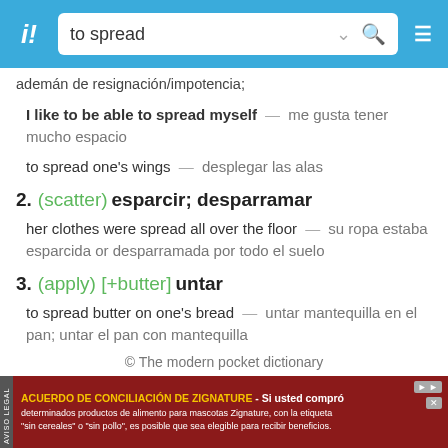[Figure (screenshot): App header bar with logo 'i!', search box containing 'to spread', dropdown and search icons, and hamburger menu]
ademán de resignación/impotencia;
I like to be able to spread myself — me gusta tener mucho espacio
to spread one's wings — desplegar las alas
2. (scatter) esparcir; desparramar
her clothes were spread all over the floor — su ropa estaba esparcida or desparramada por todo el suelo
3. (apply) [+butter] untar
to spread butter on one's bread — untar mantequilla en el pan; untar el pan con mantequilla
© The modern pocket dictionary
[Figure (infographic): Advertisement banner: ACUERDO DE CONCILIACIÓN DE ZIGNATURE - Si usted compró determinados productos de alimento para mascotas Zignature, con la etiqueta 'sin cereales' o 'sin pollo', es posible que sea elegible para recibir beneficios.]